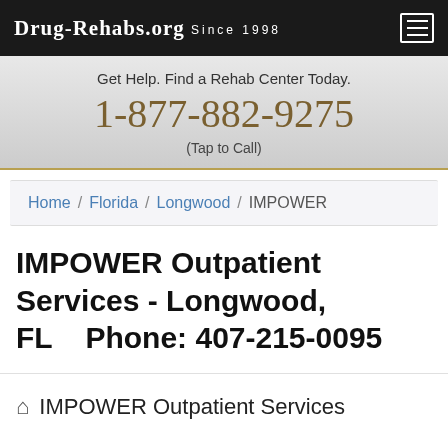DRUG-REHABS.ORG SINCE 1998
Get Help. Find a Rehab Center Today.
1-877-882-9275
(Tap to Call)
Home / Florida / Longwood / IMPOWER
IMPOWER Outpatient Services - Longwood, FL    Phone: 407-215-0095
IMPOWER Outpatient Services